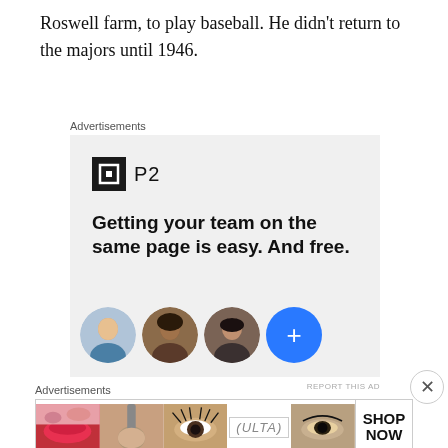Roswell farm, to play baseball. He didn't return to the majors until 1946.
Advertisements
[Figure (screenshot): P2 advertisement showing logo with dark square icon, tagline 'Getting your team on the same page is easy. And free.' with three profile photo avatars and a blue plus button]
REPORT THIS AD
Advertisements
[Figure (screenshot): Ulta Beauty advertisement banner showing close-up beauty photos with lips, eye makeup, and SHOP NOW text]